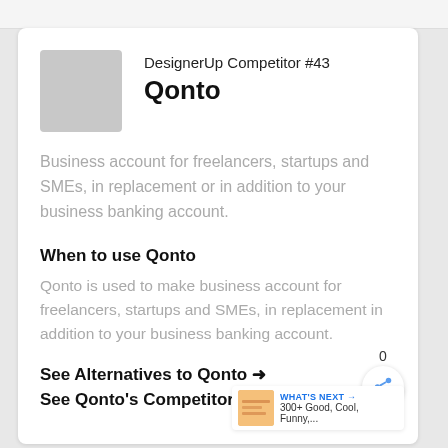DesignerUp Competitor #43 Qonto
Business account for freelancers, startups and SMEs, in replacement or in addition to your business banking account.
When to use Qonto
Qonto is used to make business account for freelancers, startups and SMEs, in replacement in addition to your business banking account.
See Alternatives to Qonto →
See Qonto's Competitors →